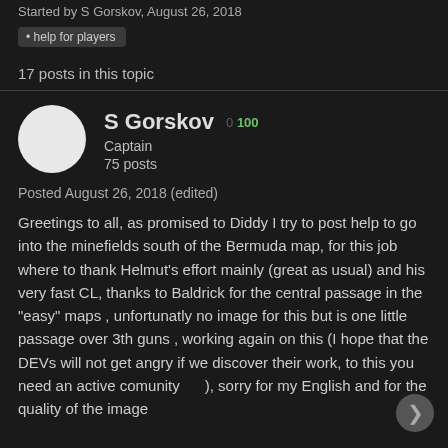Started by S Gorskov, August 26, 2018
help for players
17 posts in this topic
S Gorskov  0 100
Captain
75 posts
Posted August 26, 2018 (edited)
Greetings to all, as promised to Diddy I try to post help to go into the minefields south of the Bermuda map, for this job where to thank Helmut's effort mainly (great as usual) and his very fast CL, thanks to Baldrick for the central passage in the "easy" maps , unfortunatly no image for this but is one little passage over 3th guns , working again on this (I hope that the DEVs will not get angry if we discover their work, to this you need an active comunity     ), sorry for my English and for the quality of the image